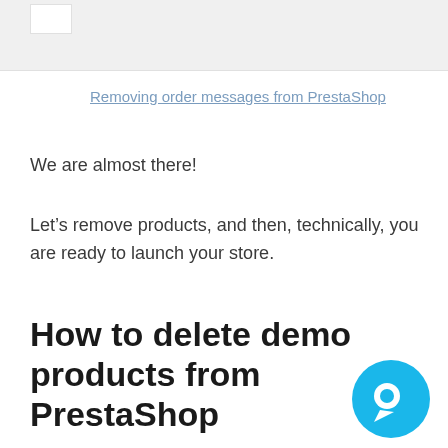Removing order messages from PrestaShop
We are almost there!
Let’s remove products, and then, technically, you are ready to launch your store.
How to delete demo products from PrestaShop